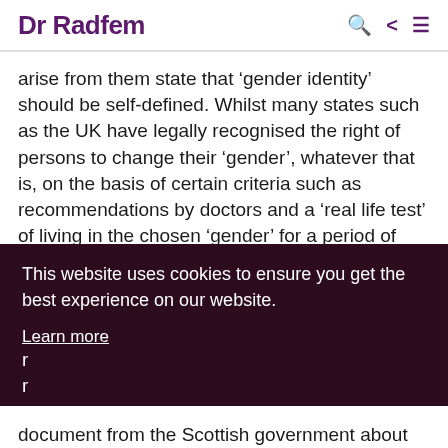Dr Radfem
arise from them state that ‘gender identity’ should be self-defined. Whilst many states such as the UK have legally recognised the right of persons to change their ‘gender’, whatever that is, on the basis of certain criteria such as recommendations by doctors and a ‘real life test’ of living in the chosen ‘gender’ for a period of time, the YPs demand that states go further and allow applicants to self-identify. This means that
This website uses cookies to ensure you get the best experience on our website.
Learn more
Got it!
document from the Scottish government about